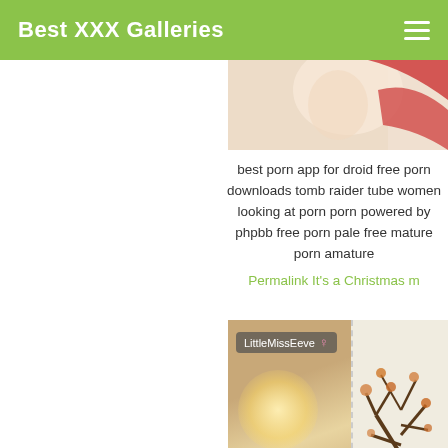Best XXX Galleries
[Figure (photo): Partial photo visible at top right, showing a woman in red lingerie on a light background]
best porn app for droid free porn downloads tomb raider tube women looking at porn porn powered by phpbb free porn pale free mature porn amature
Permalink It's a Christmas m
[Figure (photo): Photo of a room setting with LittleMissEeve username badge, showing a glowing light and a decorative tree artwork on the wall]